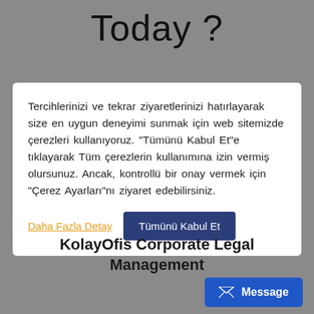Today ?
Tercihlerinizi ve tekrar ziyaretlerinizi hatırlayarak size en uygun deneyimi sunmak için web sitemizde çerezleri kullanıyoruz. "Tümünü Kabul Et"e tıklayarak Tüm çerezlerin kullanımına izin vermiş olursunuz. Ancak, kontrollü bir onay vermek için "Çerez Ayarları"nı ziyaret edebilirsiniz.
Daha Fazla Detay
Tümünü Kabul Et
KolayOfis Corporate Legal Management
Message